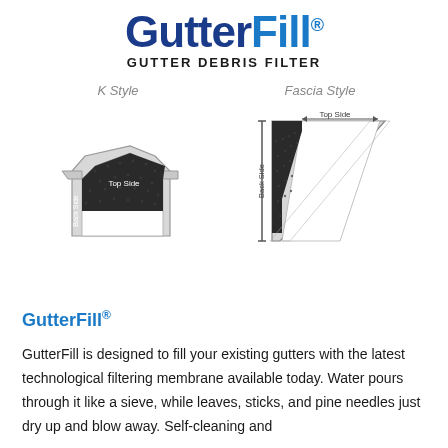[Figure (logo): GutterFill logo with dark blue 'Gutter' and light blue 'Fill' text, registered trademark symbol, and 'GUTTER DEBRIS FILTER' subtitle in black bold uppercase]
[Figure (illustration): Two cross-section diagrams of gutter filter installation: K Style gutter on left showing dark foam filter with 'Top Side' and 'Back Side' labels; Fascia Style gutter on right showing triangular cross-section with foam filter, 'Top Side' and 'Back Side' labels with arrows indicating dimensions]
GutterFill®
GutterFill is designed to fill your existing gutters with the latest technological filtering membrane available today. Water pours through it like a sieve, while leaves, sticks, and pine needles just dry up and blow away. Self-cleaning and